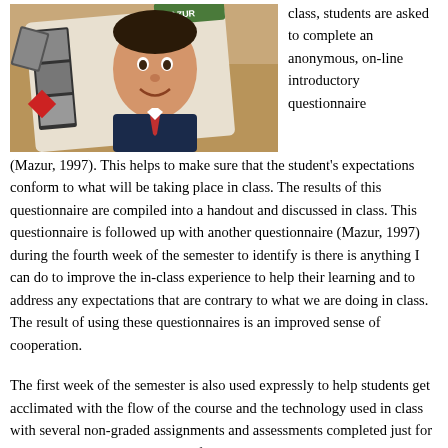[Figure (photo): A photo showing a man in a suit and tie smiling, with some books or cards visible, appearing to be an ID card or similar item on a wooden surface.]
class, students are asked to complete an anonymous, on-line introductory questionnaire (Mazur, 1997).  This helps to make sure that the student's expectations conform to what will be taking place in class.  The results of this questionnaire are compiled into a handout and discussed in class.  This questionnaire is followed up with another questionnaire (Mazur, 1997) during the fourth week of the semester to identify is there is anything I can do to improve the in-class experience to help their learning and to address any expectations that are contrary to what we are doing in class.  The result of using these questionnaires is an improved sense of cooperation.
The first week of the semester is also used expressly to help students get acclimated with the flow of the course and the technology used in class with several non-graded assignments and assessments completed just for practice.   Students must become familiar with the Learning Management System (LMS) and the classroom response system (CRS).